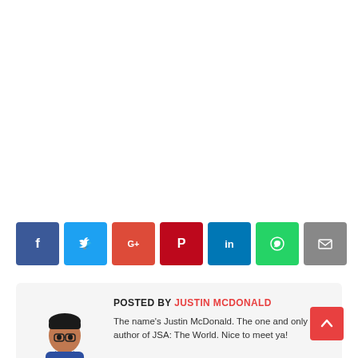[Figure (other): Row of 7 social media share buttons: Facebook (blue), Twitter (light blue), Google+ (red-orange), Pinterest (dark red), LinkedIn (blue), WhatsApp (green), Email (grey)]
[Figure (illustration): Author avatar: cartoon illustration of a young Black man wearing a dark blue t-shirt, with short dark hair]
POSTED BY JUSTIN MCDONALD
The name's Justin McDonald. The one and only author of JSA: The World. Nice to meet ya!